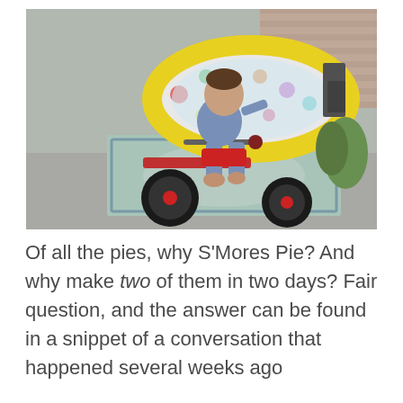[Figure (photo): A young toddler in blue pajamas sitting on a red tricycle outdoors, eating something. Behind the child is a colorful inflatable kiddie pool with a yellow ring and polka dots, and a patterned outdoor rug on the ground. A folding chair and a brick wall are visible in the background.]
Of all the pies, why S'Mores Pie? And why make two of them in two days? Fair question, and the answer can be found in a snippet of a conversation that happened several weeks ago